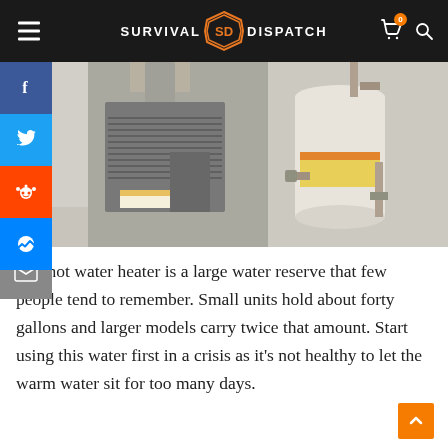SURVIVAL DISPATCH
[Figure (photo): A furnace/HVAC unit and a white water heater tank side by side in a utility room with grey walls and floor.]
The hot water heater is a large water reserve that few people tend to remember. Small units hold about forty gallons and larger models carry twice that amount. Start using this water first in a crisis as it's not healthy to let the warm water sit for too many days.